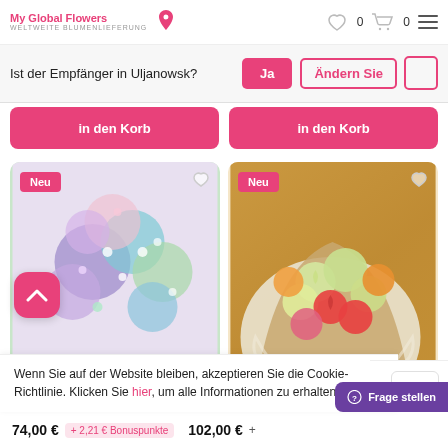My Global Flowers WELTWEITE BLUMENLIEFERUNG
Ist der Empfänger in Uljanowsk?  Ja  Ändern Sie
in den Korb
in den Korb
[Figure (photo): Colorful baby's breath flower arrangement with purple, teal, white and pink flowers. Badge: Neu]
[Figure (photo): Bouquet of roses in orange, yellow and red wrapped in kraft paper. Badge: Neu]
Wenn Sie auf der Website bleiben, akzeptieren Sie die Cookie-Richtlinie. Klicken Sie hier, um alle Informationen zu erhalten.
Frage stellen
74,00 €  + 2,21 € Bonuspunkte  102,00 €  +